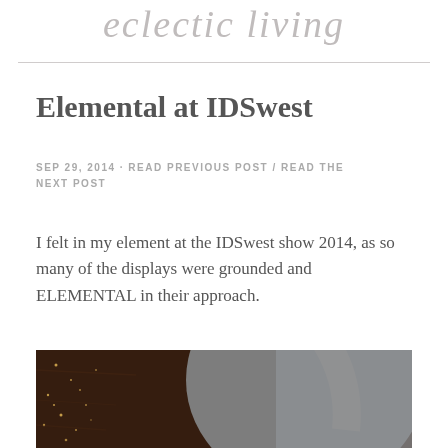eclectic living
Elemental at IDSwest
SEP 29, 2014 · READ PREVIOUS POST / READ THE NEXT POST
I felt in my element at the IDSwest show 2014, as so many of the displays were grounded and ELEMENTAL in their approach.
[Figure (photo): Close-up photo of a decorative circular object with copper/rose gold rim and dark speckled wood surface with small gold dots, against a grey background]